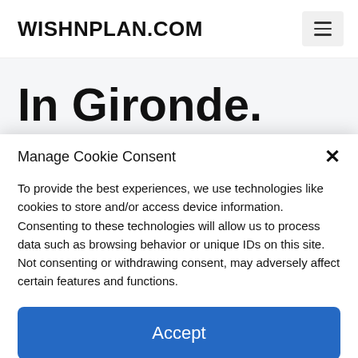WISHNPLAN.COM
In Gironde. the
Manage Cookie Consent
To provide the best experiences, we use technologies like cookies to store and/or access device information. Consenting to these technologies will allow us to process data such as browsing behavior or unique IDs on this site. Not consenting or withdrawing consent, may adversely affect certain features and functions.
Accept
Cookie Policy